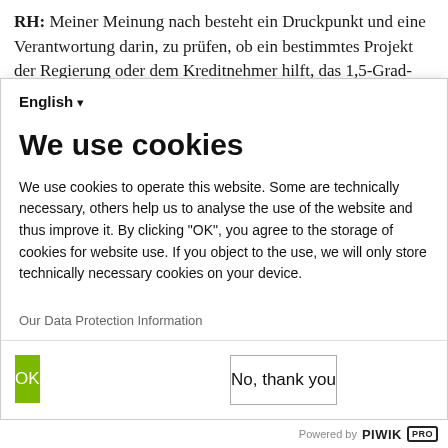RH: Meiner Meinung nach besteht ein Druckpunkt und eine Verantwortung darin, zu prüfen, ob ein bestimmtes Projekt der Regierung oder dem Kreditnehmer hilft, das 1,5-Grad-Ziel zu erreichen.
English ▾
We use cookies
We use cookies to operate this website. Some are technically necessary, others help us to analyse the use of the website and thus improve it. By clicking "OK", you agree to the storage of cookies for website use. If you object to the use, we will only store technically necessary cookies on your device.
Our Data Protection Information
OK
No, thank you
Powered by PIWIK PRO